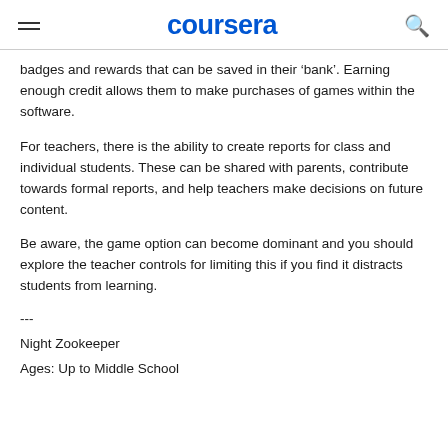coursera
badges and rewards that can be saved in their ‘bank’. Earning enough credit allows them to make purchases of games within the software.
For teachers, there is the ability to create reports for class and individual students. These can be shared with parents, contribute towards formal reports, and help teachers make decisions on future content.
Be aware, the game option can become dominant and you should explore the teacher controls for limiting this if you find it distracts students from learning.
---
Night Zookeeper
Ages: Up to Middle School